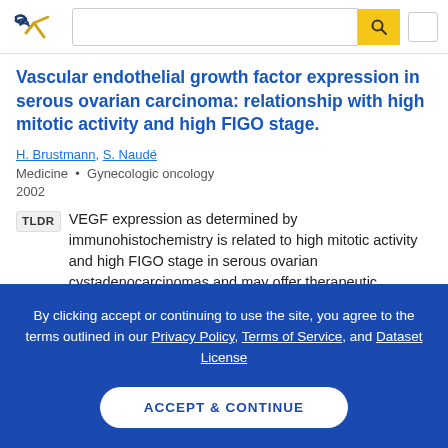Semantic Scholar header with logo and search bar
Vascular endothelial growth factor expression in serous ovarian carcinoma: relationship with high mitotic activity and high FIGO stage.
H. Brustmann, S. Naudé
Medicine • Gynecologic oncology
2002
TLDR VEGF expression as determined by immunohistochemistry is related to high mitotic activity and high FIGO stage in serous ovarian cystadenocarcinomas and may offer therapeutic
By clicking accept or continuing to use the site, you agree to the terms outlined in our Privacy Policy, Terms of Service, and Dataset License
ACCEPT & CONTINUE